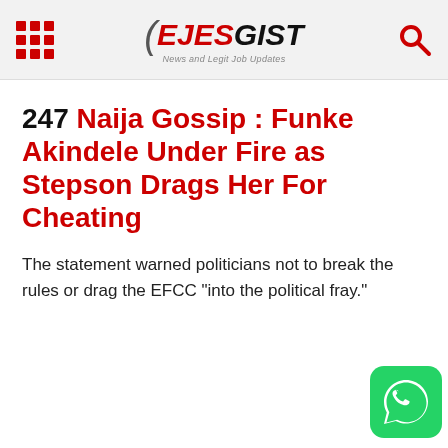EJESGIST News and Legit Job Updates
247 Naija Gossip : Funke Akindele Under Fire as Stepson Drags Her For Cheating
The statement warned politicians not to break the rules or drag the EFCC “into the political fray.”